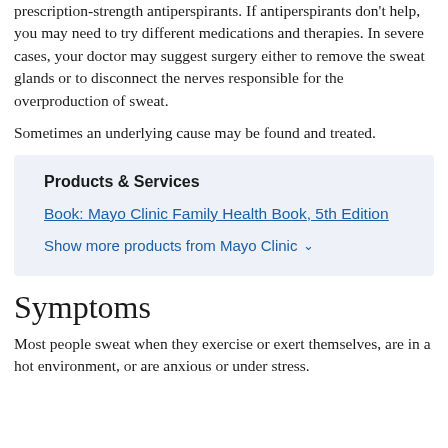prescription-strength antiperspirants. If antiperspirants don't help, you may need to try different medications and therapies. In severe cases, your doctor may suggest surgery either to remove the sweat glands or to disconnect the nerves responsible for the overproduction of sweat.
Sometimes an underlying cause may be found and treated.
Products & Services
Book: Mayo Clinic Family Health Book, 5th Edition
Show more products from Mayo Clinic
Symptoms
Most people sweat when they exercise or exert themselves, are in a hot environment, or are anxious or under stress.